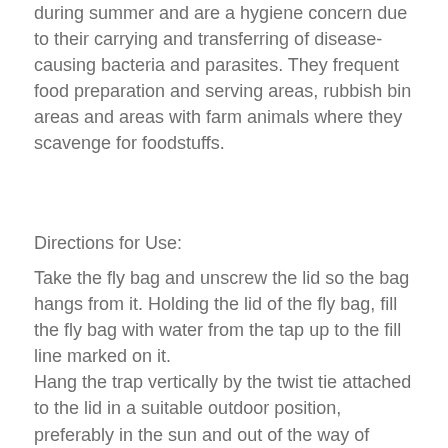during summer and are a hygiene concern due to their carrying and transferring of disease-causing bacteria and parasites. They frequent food preparation and serving areas, rubbish bin areas and areas with farm animals where they scavenge for foodstuffs.
Directions for Use:
Take the fly bag and unscrew the lid so the bag hangs from it. Holding the lid of the fly bag, fill the fly bag with water from the tap up to the fill line marked on it. Hang the trap vertically by the twist tie attached to the lid in a suitable outdoor position, preferably in the sun and out of the way of food/animals. Ideally near where the flies are coming from (if known). Ensure that the trap is held securely in place by the twist wrap and onto the item that the trap is hung from. Where